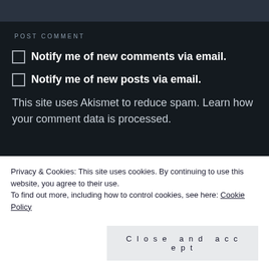POST COMMENT
Notify me of new comments via email.
Notify me of new posts via email.
This site uses Akismet to reduce spam. Learn how your comment data is processed.
Privacy & Cookies: This site uses cookies. By continuing to use this website, you agree to their use.
To find out more, including how to control cookies, see here: Cookie Policy
Close and accept